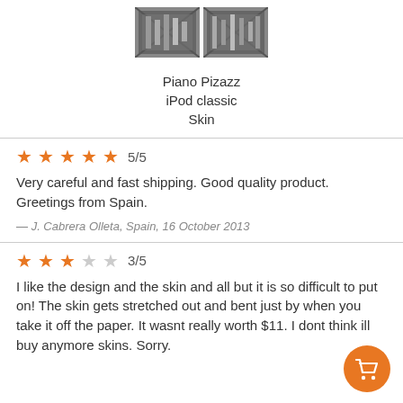[Figure (photo): Two small grayscale product thumbnail images of Piano Pizazz iPod classic Skin]
Piano Pizazz
iPod classic
Skin
5/5 (five filled stars)
Very careful and fast shipping. Good quality product. Greetings from Spain.
— J. Cabrera Olleta, Spain, 16 October 2013
3/5 (three filled stars, two empty stars)
I like the design and the skin and all but it is so difficult to put on! The skin gets stretched out and bent just by when you take it off the paper. It wasnt really worth $11. I dont think ill buy anymore skins. Sorry.